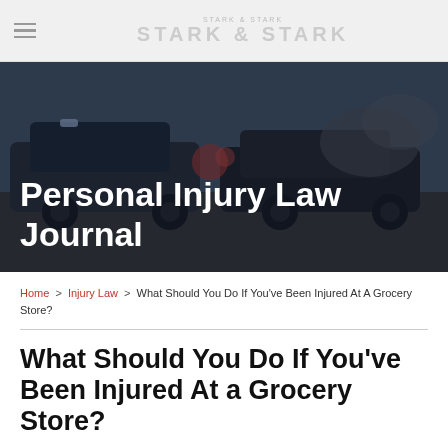STARK & STARK
[Figure (photo): Hero banner showing a car accident scene with two vehicles crashed, overlaid with dark blue tint]
Personal Injury Law Journal
Home > Injury Law > What Should You Do If You've Been Injured At A Grocery Store?
What Should You Do If You've Been Injured At a Grocery Store?
By David M. Schmid on July 20, 2015